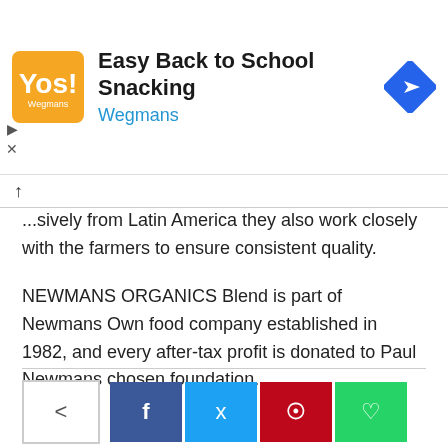[Figure (infographic): Advertisement banner for Wegmans: Easy Back to School Snacking with orange logo and blue navigation icon]
...sively from Latin America they also work closely with the farmers to ensure consistent quality.
NEWMANS ORGANICS Blend is part of Newmans Own food company established in 1982, and every after-tax profit is donated to Paul Newmans chosen foundation.
[Figure (infographic): Social share buttons: native share, Facebook, Twitter, Pinterest, WhatsApp]